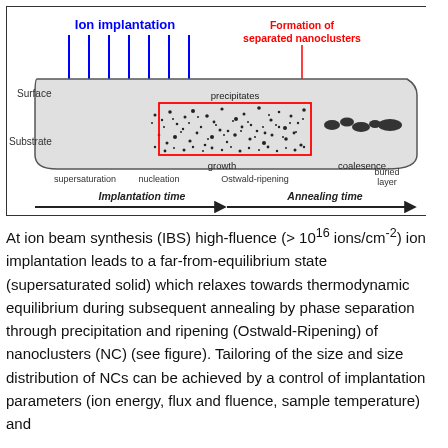[Figure (schematic): Ion beam synthesis diagram showing ion implantation (blue arrows) into a substrate, with stages labeled: supersaturation, nucleation, growth (with precipitates highlighted in red box), Ostwald-ripening, coalesence, buried layer. Left axis: Implantation time (arrow); Right axis: Annealing time (arrow). Formation of separated nanoclusters labeled in red.]
At ion beam synthesis (IBS) high-fluence (> 10^16 ions/cm^-2) ion implantation leads to a far-from-equilibrium state (supersaturated solid) which relaxes towards thermodynamic equilibrium during subsequent annealing by phase separation through precipitation and ripening (Ostwald-Ripening) of nanoclusters (NC) (see figure). Tailoring of the size and size distribution of NCs can be achieved by a control of implantation parameters (ion energy, flux and fluence, sample temperature) and